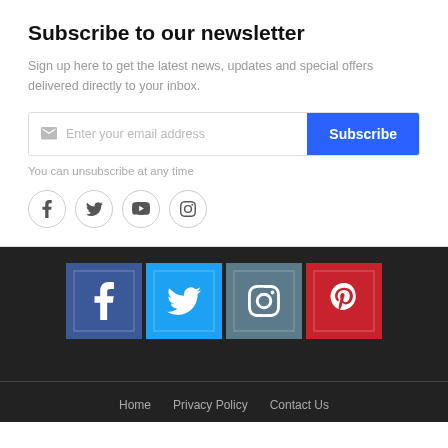Subscribe to our newsletter
Sign up here to get the latest news, updates and special offers delivered directly to your inbox.
[Figure (screenshot): Email subscription input field with placeholder 'Enter your email address' and a blue 'Subscribe' button]
You can unsubscribe at any time
[Figure (infographic): Four social media icons in circles: Facebook, Twitter, YouTube, Instagram]
[Figure (infographic): Four colored social media blocks: Facebook (dark blue), Twitter (light blue), Instagram (slate blue), Pinterest (red)]
Home   Privacy Policy   Contact Us